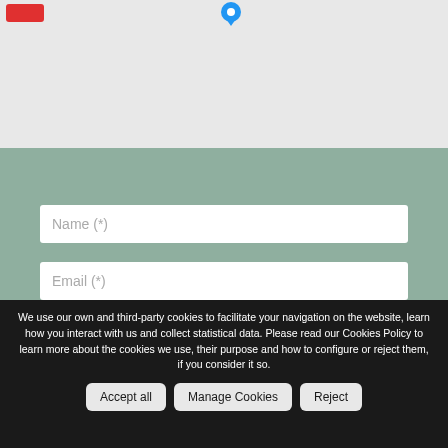[Figure (map): Partial map view with a red button element in the top-left and a blue map pin marker near the top-center]
CONTACT US
Name (*)
Email (*)
We use our own and third-party cookies to facilitate your navigation on the website, learn how you interact with us and collect statistical data. Please read our Cookies Policy to learn more about the cookies we use, their purpose and how to configure or reject them, if you consider it so.
Accept all
Manage Cookies
Reject